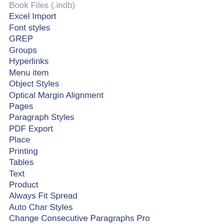Book Files (.indb)
Excel Import
Font styles
GREP
Groups
Hyperlinks
Menu item
Object Styles
Optical Margin Alignment
Pages
Paragraph Styles
PDF Export
Place
Printing
Tables
Text
Product
Always Fit Spread
Auto Char Styles
Change Consecutive Paragraphs Pro
Dropword III